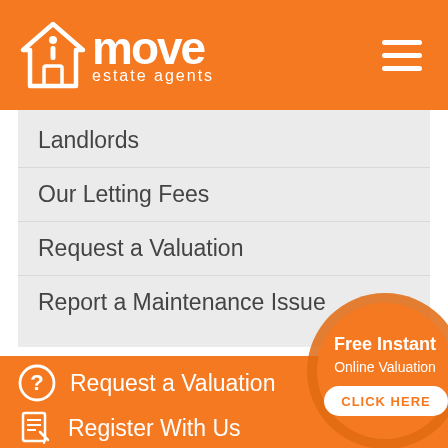[Figure (logo): iMove Estate Agents logo with house icon on orange header background, hamburger menu icon top right]
Landlords
Our Letting Fees
Request a Valuation
Report a Maintenance Issue
Request a Valuation
[Figure (infographic): Circular badge: Free Instant Online Valuation - CLICK HERE]
Register With Us